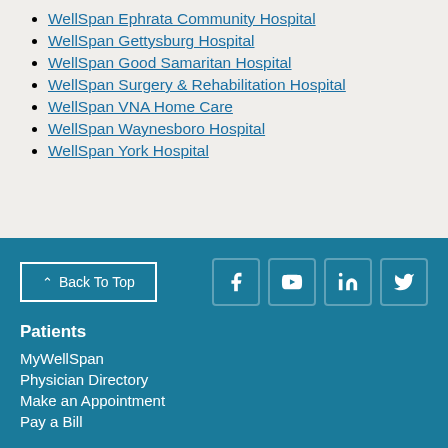WellSpan Ephrata Community Hospital
WellSpan Gettysburg Hospital
WellSpan Good Samaritan Hospital
WellSpan Surgery & Rehabilitation Hospital
WellSpan VNA Home Care
WellSpan Waynesboro Hospital
WellSpan York Hospital
Back To Top
Patients
MyWellSpan
Physician Directory
Make an Appointment
Pay a Bill